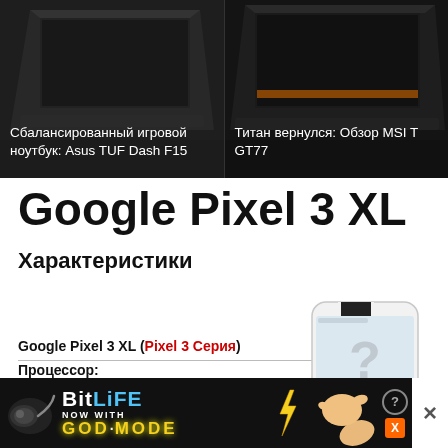[Figure (screenshot): Two laptop banner images at top. Left: dark laptop with Russian text overlay 'Сбалансированный игровой ноутбук: Asus TUF Dash F15'. Right: dark laptop with Russian text overlay 'Титан вернулся: Обзор MSI T GT77'.]
Google Pixel 3 XL
Характеристики
Google Pixel 3 XL (Pixel 3 Серия)
Процессор: Qualcomm Snapdragon 845 8 x 2.8 GHz, Cortex-A75 / A55 (Kryo 385)
[Figure (photo): Google Pixel 3 XL smartphone image showing front face with notch, displayed on white/light background with shadow]
[Figure (screenshot): BitLife advertisement banner at bottom: black background with BitLife logo, 'NOW WITH GOD MODE' text in yellow, pointing hand illustration, orange X close button, and white X close button on right.]